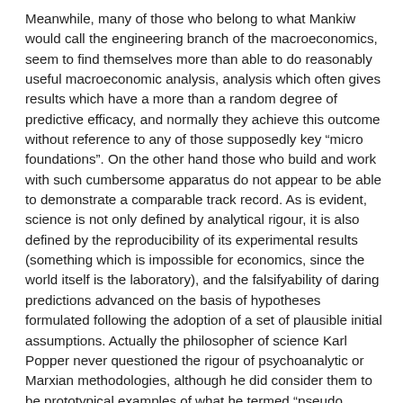Meanwhile, many of those who belong to what Mankiw would call the engineering branch of the macroeconomics, seem to find themselves more than able to do reasonably useful macroeconomic analysis, analysis which often gives results which have a more than a random degree of predictive efficacy, and normally they achieve this outcome without reference to any of those supposedly key “micro foundations”. On the other hand those who build and work with such cumbersome apparatus do not appear to be able to demonstrate a comparable track record. As is evident, science is not only defined by analytical rigour, it is also defined by the reproducibility of its experimental results (something which is impossible for economics, since the world itself is the laboratory), and the falsifyability of daring predictions advanced on the basis of hypotheses formulated following the adoption of a set of plausible initial assumptions. Actually the philosopher of science Karl Popper never questioned the rigour of psychoanalytic or Marxian methodologies, although he did consider them to be prototypical examples of what he termed “pseudo science”. Interestingly, his colleague Imre Lakatos considered neoclassical economics also to belong to this latter group